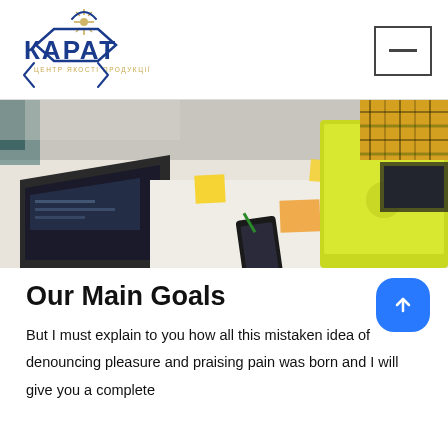[Figure (logo): КАРАТ logo with geometric hexagon/star shape and subtitle ЦЕНТР ЯКОСТІ ПРОДУКЦІЇ in blue and gold]
[Figure (photo): Office desk scene with laptops, yellow sticky notes, a phone, and a person in a yellow plaid shirt in the background]
Our Main Goals
But I must explain to you how all this mistaken idea of denouncing pleasure and praising pain was born and I will give you a complete